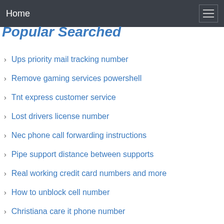Home
Popular Searched
Ups priority mail tracking number
Remove gaming services powershell
Tnt express customer service
Lost drivers license number
Nec phone call forwarding instructions
Pipe support distance between supports
Real working credit card numbers and more
How to unblock cell number
Christiana care it phone number
Python iso week number